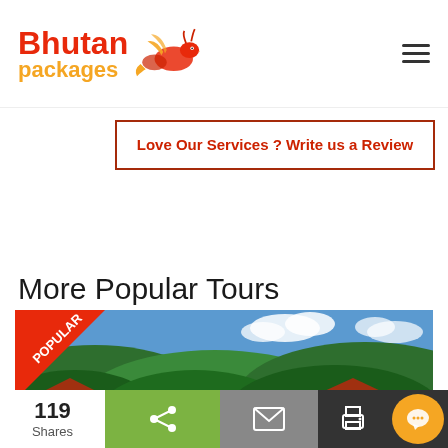[Figure (logo): Bhutan Packages logo with dragon illustration, red and orange text]
Love Our Services ? Write us a Review
More Popular Tours
[Figure (photo): Landscape photo of Bhutan with green hills, blue sky, clouds, and traditional Bhutanese building rooftops. A red 'POPULAR' badge is shown in the top-left corner.]
119 Shares